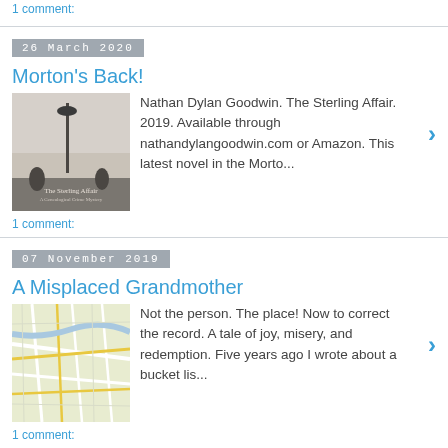1 comment:
26 March 2020
Morton's Back!
[Figure (photo): Book cover of The Sterling Affair by Nathan Dylan Goodwin]
Nathan Dylan Goodwin. The Sterling Affair. 2019. Available through nathandylangoodwin.com or Amazon. This latest novel in the Morto...
1 comment:
07 November 2019
A Misplaced Grandmother
[Figure (map): Street map thumbnail image]
Not the person. The place! Now to correct the record. A tale of joy, misery, and redemption. Five years ago I wrote about a bucket lis...
1 comment:
20 January 2019
One Line of Coll McFadyens